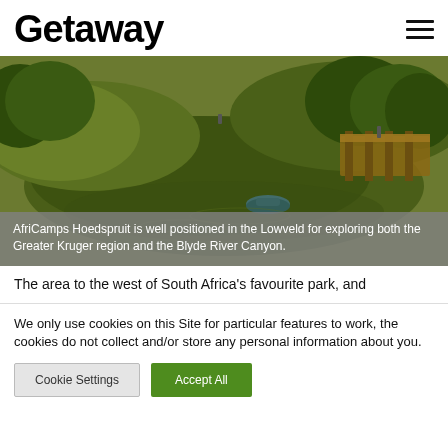Getaway
[Figure (photo): Aerial view of AfriCamps Hoedspruit showing a green pond with a small boat, lush grassland, trees, and a wooden deck/lodge structure on the right.]
AfriCamps Hoedspruit is well positioned in the Lowveld for exploring both the Greater Kruger region and the Blyde River Canyon.
The area to the west of South Africa's favourite park, and
We only use cookies on this Site for particular features to work, the cookies do not collect and/or store any personal information about you.